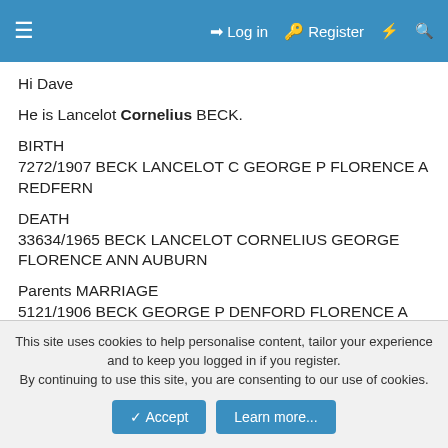≡  Log in  Register  ⚡  🔍
Hi Dave
He is Lancelot Cornelius BECK.
BIRTH
7272/1907 BECK LANCELOT C GEORGE P FLORENCE A REDFERN
DEATH
33634/1965 BECK LANCELOT CORNELIUS GEORGE FLORENCE ANN AUBURN
Parents MARRIAGE
5121/1906 BECK GEORGE P DENFORD FLORENCE A
This site uses cookies to help personalise content, tailor your experience and to keep you logged in if you register.
By continuing to use this site, you are consenting to our use of cookies.
Accept    Learn more...